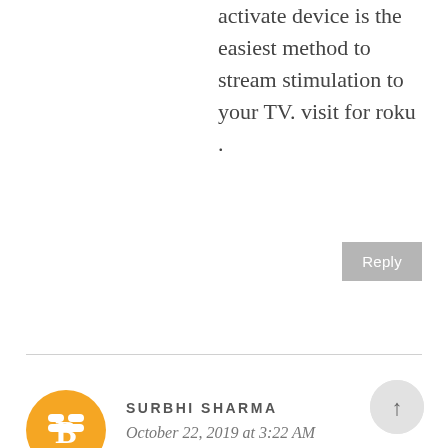activate device is the easiest method to stream stimulation to your TV. visit for roku .
Reply
SURBHI SHARMA
October 22, 2019 at 3:22 AM
webroot.com/safe offer total security of sensitive files over the entirety of your gadgets that incorporate a wide